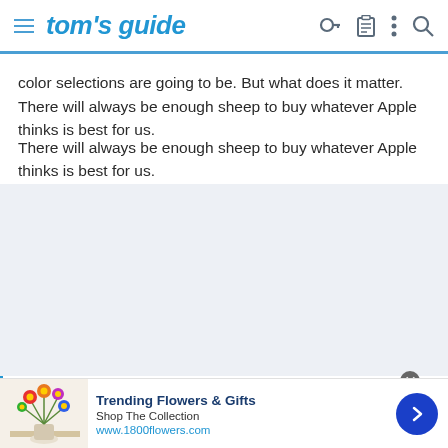tom's guide
time fatsing around with its fingerprint reader and what the new color selections are going to be. But what does it matter. There will always be enough sheep to buy whatever Apple thinks is best for us.
[Figure (screenshot): Gray empty content area placeholder]
[Figure (photo): Advertisement banner: Trending Flowers & Gifts - Shop The Collection - www.1800flowers.com, showing a colorful flower bouquet]